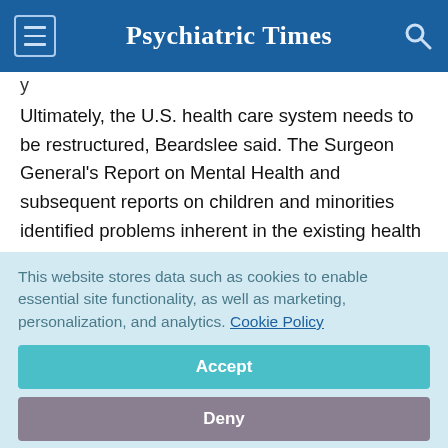Psychiatric Times
y
Ultimately, the U.S. health care system needs to be restructured, Beardslee said. The Surgeon General's Report on Mental Health and subsequent reports on children and minorities identified problems inherent in the existing health care system, such as a lack of parity for mental health treatment and the lack of interventions that target an illness early on.
This website stores data such as cookies to enable essential site functionality, as well as marketing, personalization, and analytics. Cookie Policy
Accept
Deny